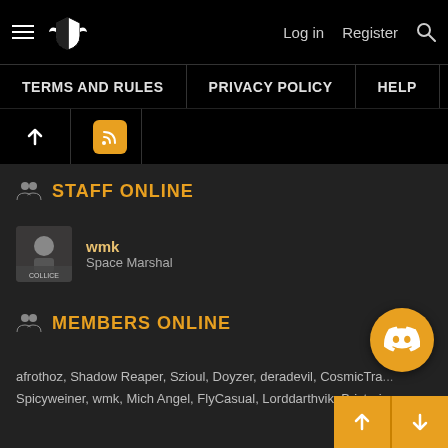Log in  Register
TERMS AND RULES  |  PRIVACY POLICY  |  HELP
STAFF ONLINE
wmk
Space Marshal
MEMBERS ONLINE
afrothoz, Shadow Reaper, Szioul, Doyzer, deradevil, CosmicTra..., Spicyweiner, wmk, Mich Angel, FlyCasual, Lorddarthvik, Brictoria